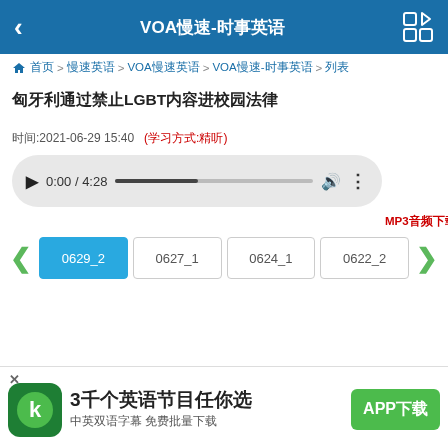VOA慢速-时事英语
首页 > 慢速英语 > VOA慢速英语 > VOA慢速-时事英语 > 列表
匈牙利通过禁止LGBT内容进校园法律
时间:2021-06-29 15:40   (学习方式:精听)
[Figure (other): Audio player showing 0:00 / 4:28 with progress bar]
MP3音频下载
0629_2  0627_1  0624_1  0622_2
[Figure (infographic): App advertisement banner: 3千个英语节目任你选, 中英双语字幕 免费批量下载, APP下载 button]